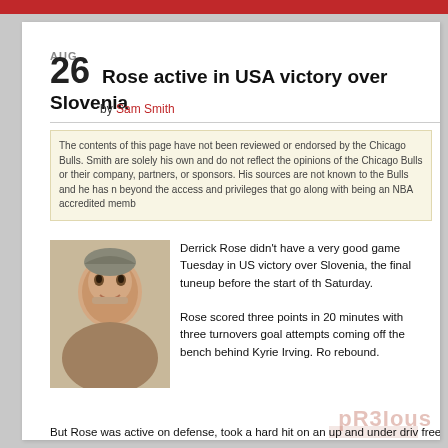Red bar header
AUG
26 Rose active in USA victory over Slovenia
by Sam Smith
The contents of this page have not been reviewed or endorsed by the Chicago Bulls. Smith are solely his own and do not reflect the opinions of the Chicago Bulls or their company, partners, or sponsors. His sources are not known to the Bulls and he has no beyond the access and privileges that go along with being an NBA accredited memb
[Figure (photo): Headshot photo of Sam Smith, middle-aged man with grey hair and mustache]
Derrick Rose didn't have a very good game Tuesday in US victory over Slovenia, the final tuneup before the start of th Saturday.
Rose scored three points in 20 minutes with three turnovers goal attempts coming off the bench behind Kyrie Irving. Ro rebound.
But Rose was active on defense, took a hard hit on an up and under driv free throws, beat the defense on a drive and left handed finish which he save a DeMarcus Cousins miss and was fouled retrieving the loose ball